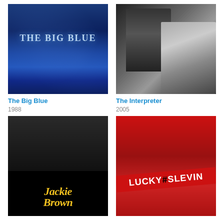[Figure (photo): Movie poster for The Big Blue - dark blue ocean water background with text THE BIG BLUE in light blue serif letters]
The Big Blue
1988
[Figure (photo): Movie poster for The Interpreter - black and white photo showing a man in suit and a woman with long blonde hair]
The Interpreter
2005
[Figure (photo): Movie poster for Jackie Brown - black and white group of people on top, yellow retro title text Jackie Brown on black background]
[Figure (photo): Movie poster for Lucky Number Slevin - red background with cast members and large LUCKY #SLEVIN text on a diagonal banner]